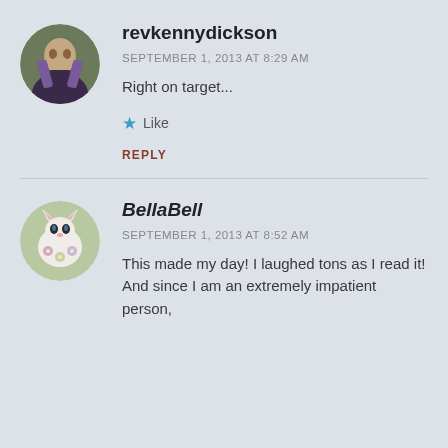[Figure (photo): Circular avatar photo of a man holding something, wearing a purple scarf]
revkennydickson
SEPTEMBER 1, 2013 AT 8:29 AM
Right on target...
★ Like
REPLY
[Figure (photo): Circular avatar illustration of a white cat with flowers]
BellaBell
SEPTEMBER 1, 2013 AT 8:52 AM
This made my day! I laughed tons as I read it! And since I am an extremely impatient person,